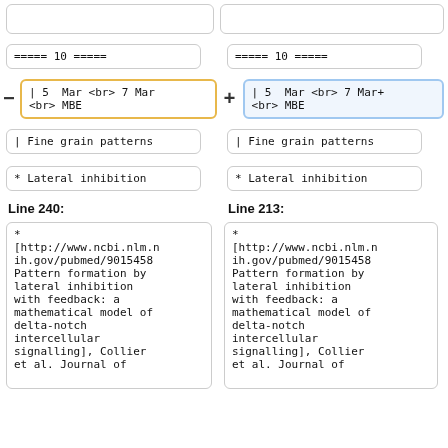===== 10 =====
===== 10 =====
| 5  Mar <br> 7 Mar
<br> MBE
| 5  Mar <br> 7 Mar+
<br> MBE
| Fine grain patterns
| Fine grain patterns
* Lateral inhibition
* Lateral inhibition
Line 240:
Line 213:
*
[http://www.ncbi.nlm.n
ih.gov/pubmed/9015458
Pattern formation by
lateral inhibition
with feedback: a
mathematical model of
delta-notch
intercellular
signalling], Collier
et al. Journal of
*
[http://www.ncbi.nlm.n
ih.gov/pubmed/9015458
Pattern formation by
lateral inhibition
with feedback: a
mathematical model of
delta-notch
intercellular
signalling], Collier
et al. Journal of